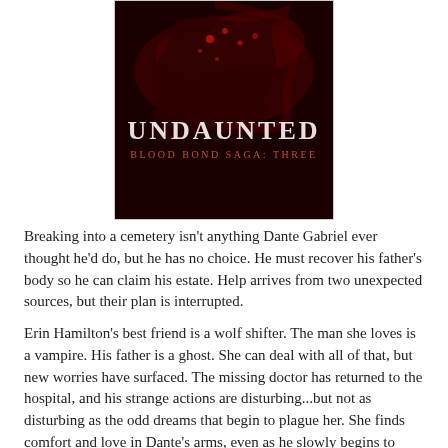[Figure (illustration): Book cover for 'Undaunted: Blood Bond Saga: Three' — dark red/maroon background with abstract smoky or organic shapes, white text reading UNDAUNTED, and smaller text reading BLOOD BOND SAGA: THREE in reddish/orange lettering.]
Breaking into a cemetery isn't anything Dante Gabriel ever thought he'd do, but he has no choice. He must recover his father's body so he can claim his estate. Help arrives from two unexpected sources, but their plan is interrupted.
Erin Hamilton's best friend is a wolf shifter. The man she loves is a vampire. His father is a ghost. She can deal with all of that, but new worries have surfaced. The missing doctor has returned to the hospital, and his strange actions are disturbing...but not as disturbing as the odd dreams that begin to plague her. She finds comfort and love in Dante's arms, even as he slowly begins to change.
More secrets are revealed, and Dante and Erin recruit his